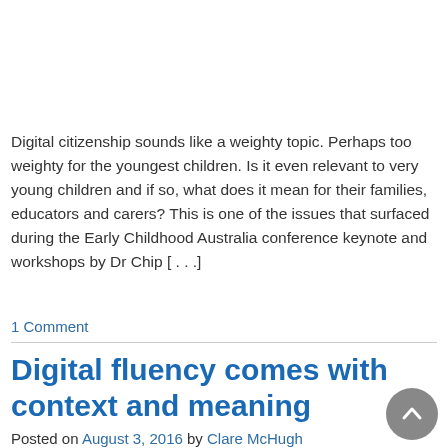Digital citizenship sounds like a weighty topic. Perhaps too weighty for the youngest children. Is it even relevant to very young children and if so, what does it mean for their families, educators and carers? This is one of the issues that surfaced during the Early Childhood Australia conference keynote and workshops by Dr Chip [...]
1 Comment
Digital fluency comes with context and meaning
Posted on August 3, 2016 by Clare McHugh